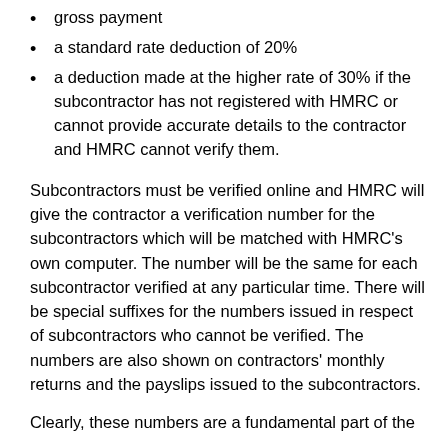gross payment
a standard rate deduction of 20%
a deduction made at the higher rate of 30% if the subcontractor has not registered with HMRC or cannot provide accurate details to the contractor and HMRC cannot verify them.
Subcontractors must be verified online and HMRC will give the contractor a verification number for the subcontractors which will be matched with HMRC’s own computer. The number will be the same for each subcontractor verified at any particular time. There will be special suffixes for the numbers issued in respect of subcontractors who cannot be verified. The numbers are also shown on contractors’ monthly returns and the payslips issued to the subcontractors.
Clearly, these numbers are a fundamental part of the